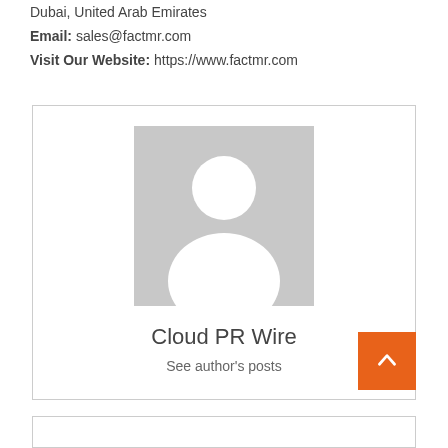Dubai, United Arab Emirates
Email: sales@factmr.com
Visit Our Website: https://www.factmr.com
[Figure (illustration): Author profile card with a generic grey person silhouette placeholder image, the name 'Cloud PR Wire', and a 'See author's posts' link. An orange back-to-top button is overlaid at the bottom-right corner of the card.]
Cloud PR Wire
See author's posts